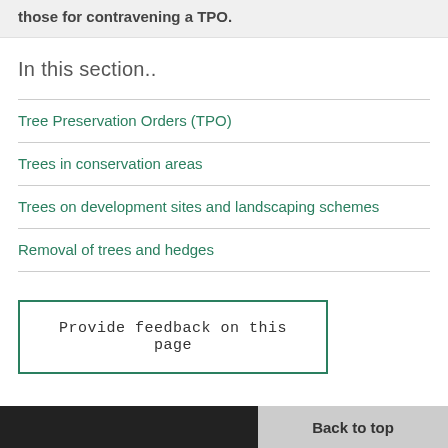those for contravening a TPO.
In this section..
Tree Preservation Orders (TPO)
Trees in conservation areas
Trees on development sites and landscaping schemes
Removal of trees and hedges
Provide feedback on this page
Back to top